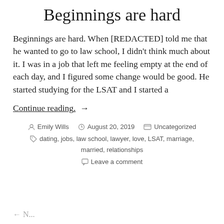Beginnings are hard
Beginnings are hard. When [REDACTED] told me that he wanted to go to law school, I didn't think much about it. I was in a job that left me feeling empty at the end of each day, and I figured some change would be good. He started studying for the LSAT and I started a
Continue reading. →
by Emily Wills   August 20, 2019   Uncategorized   dating, jobs, law school, lawyer, love, LSAT, marriage, married, relationships   Leave a comment